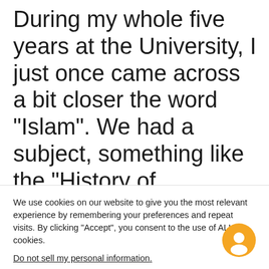During my whole five years at the University, I just once came across a bit closer the word “Islam”. We had a subject, something like the “History of Religion”. One of the textbooks contained the following phrase
We use cookies on our website to give you the most relevant experience by remembering your preferences and repeat visits. By clicking “Accept”, you consent to the use of ALL the cookies.
Do not sell my personal information.
Cookie settings
ACCEPT